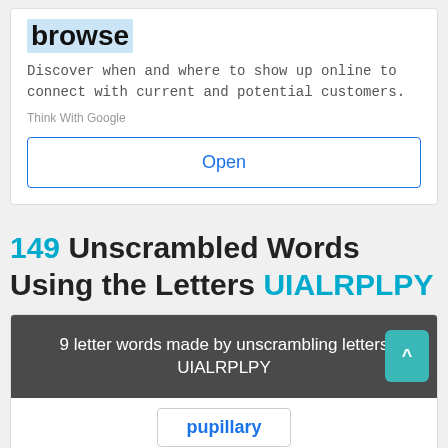browse
Discover when and where to show up online to connect with current and potential customers.
Think With Google
Open
149 Unscrambled Words Using the Letters UIALRPLPY
9 letter words made by unscrambling letters UIALRPLPY
pupillary